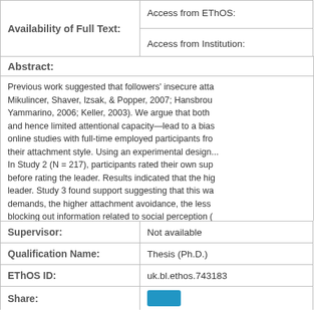| Availability of Full Text: | Access from EThOS:
Access from Institution: |
| --- | --- |
Abstract:
Previous work suggested that followers' insecure atta... Mikulincer, Shaver, Izsak, & Popper, 2007; Hansbrou... Yammarino, 2006; Keller, 2003). We argue that both ... and hence limited attentional capacity—lead to a bias... online studies with full-time employed participants fro... their attachment style. Using an experimental design.... In Study 2 (N = 217), participants rated their own sup... before rating the leader. Results indicated that the hi... leader. Study 3 found support suggesting that this wa... demands, the higher attachment avoidance, the less ... blocking out information related to social perception (... to attachment anxiety were inconsistent. Results from... capacity and heightened accuracy motivation for part...
| Supervisor: | Not available |
| --- | --- |
| Qualification Name: | Thesis (Ph.D.) |
| EThOS ID: | uk.bl.ethos.743183 |
| Share: |  |